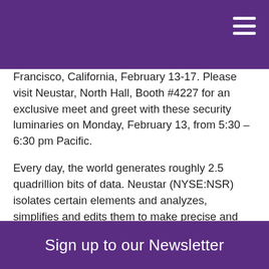Francisco, California, February 13-17. Please visit Neustar, North Hall, Booth #4227 for an exclusive meet and greet with these security luminaries on Monday, February 13, from 5:30 – 6:30 pm Pacific.
Every day, the world generates roughly 2.5 quadrillion bits of data. Neustar (NYSE:NSR) isolates certain elements and analyzes, simplifies and edits them to make precise and valuable decisions that drive results. As one of the few companies capable of knowing with certainty who is on the other end of every interaction, we're trusted by the world's great brands to make critical decisions some 20 billion times a day. We help marketers send timely and relevant messages to the
Sign up to our Newsletter